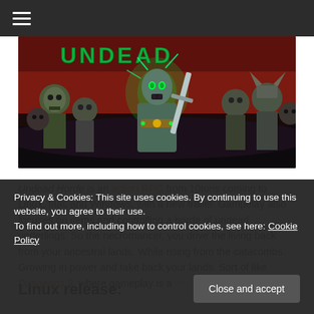≡
[Figure (illustration): Game banner illustration showing undead horde characters — glowing green necromancer in center wielding a sword, surrounded by zombie/undead minions in helmets, dark moody background with red sky.]
Undead Horde is an action RPG from 10tons coming to Linux, Mac and Windows, with a new trailer. Gampelay also focuses on items and controlling a horde of undead underlings. So the necromancer, you drive the living back from your ancestral lands. While rising from the catacombs. Growing in power and take back your lands. Sort of like Dungeons 3, where gameplay is also (continued)
Linux release:
Privacy & Cookies: This site uses cookies. By continuing to use this website, you agree to their use. To find out more, including how to control cookies, see here: Cookie Policy
"We aim to release Undead Horde at least in Steam...